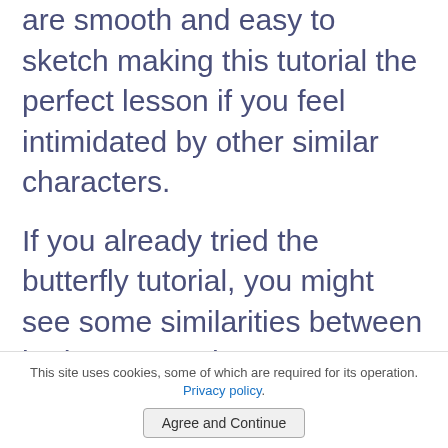are smooth and easy to sketch making this tutorial the perfect lesson if you feel intimidated by other similar characters.
If you already tried the butterfly tutorial, you might see some similarities between both cartoon characters. However, there are two major differences: 1. The wings of the dragonfly are smaller and thinner. 2. The body is longer and made from two different shapes. Of course, the dragonfly also doesn't have any patterns on the wings.
This site uses cookies, some of which are required for its operation. Privacy policy. Agree and Continue